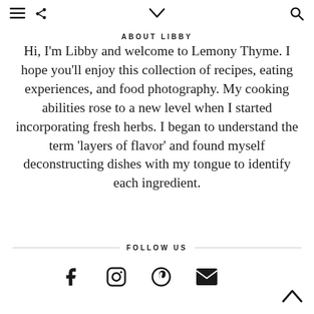≡  ⋖  ∨  🔍
ABOUT LIBBY
Hi, I'm Libby and welcome to Lemony Thyme. I hope you'll enjoy this collection of recipes, eating experiences, and food photography. My cooking abilities rose to a new level when I started incorporating fresh herbs. I began to understand the term 'layers of flavor' and found myself deconstructing dishes with my tongue to identify each ingredient.
FOLLOW US
[Figure (illustration): Row of social media icons: Facebook (f), Instagram (camera circle), Pinterest (p in circle), Email (envelope)]